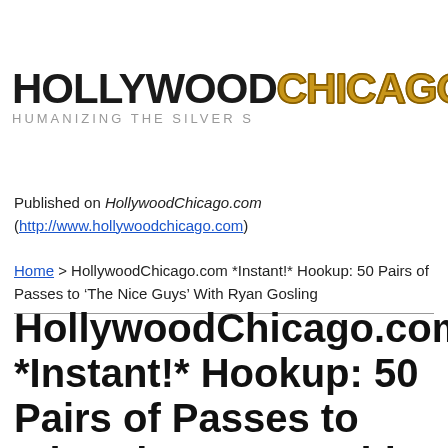[Figure (logo): HollywoodChicago.com logo with clapperboard icon and site name with tagline 'HUMANIZING THE SILVER SCREEN']
Published on HollywoodChicago.com (http://www.hollywoodchicago.com)
Home > HollywoodChicago.com *Instant!* Hookup: 50 Pairs of Passes to 'The Nice Guys' With Ryan Gosling
HollywoodChicago.com *Instant!* Hookup: 50 Pairs of Passes to 'The Nice Guys' With Ryan Gosling